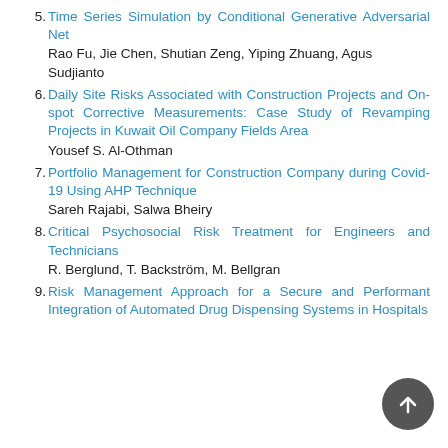5. Time Series Simulation by Conditional Generative Adversarial Net
Rao Fu, Jie Chen, Shutian Zeng, Yiping Zhuang, Agus Sudjianto
6. Daily Site Risks Associated with Construction Projects and On-spot Corrective Measurements: Case Study of Revamping Projects in Kuwait Oil Company Fields Area
Yousef S. Al-Othman
7. Portfolio Management for Construction Company during Covid-19 Using AHP Technique
Sareh Rajabi, Salwa Bheiry
8. Critical Psychosocial Risk Treatment for Engineers and Technicians
R. Berglund, T. Backström, M. Bellgran
9. Risk Management Approach for a Secure and Performant Integration of Automated Drug Dispensing Systems in Hospitals